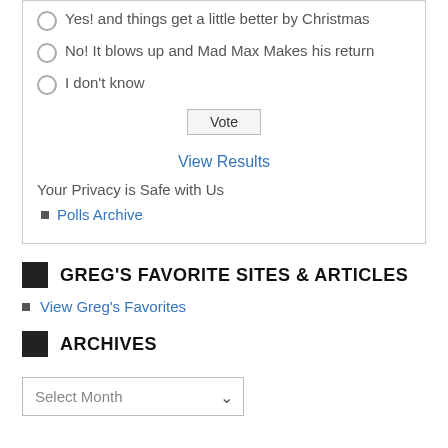Yes! and things get a little better by Christmas
No! It blows up and Mad Max Makes his return
I don't know
Vote
View Results
Your Privacy is Safe with Us
Polls Archive
GREG'S FAVORITE SITES & ARTICLES
View Greg's Favorites
ARCHIVES
Select Month